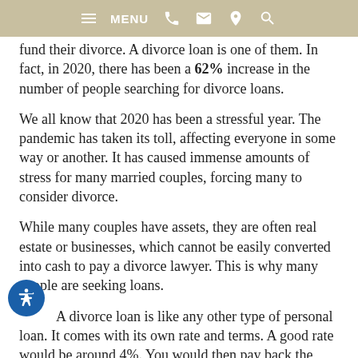MENU [navigation icons]
fund their divorce. A divorce loan is one of them. In fact, in 2020, there has been a 62% increase in the number of people searching for divorce loans.
We all know that 2020 has been a stressful year. The pandemic has taken its toll, affecting everyone in some way or another. It has caused immense amounts of stress for many married couples, forcing many to consider divorce.
While many couples have assets, they are often real estate or businesses, which cannot be easily converted into cash to pay a divorce lawyer. This is why many people are seeking loans.
A divorce loan is like any other type of personal loan. It comes with its own rate and terms. A good rate would be around 4%. You would then pay back the loan once you receive a divorce settlement.